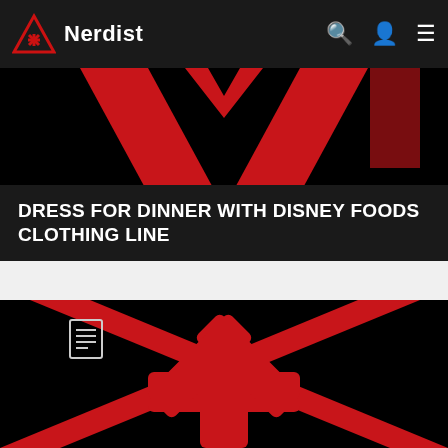Nerdist
[Figure (illustration): Top cropped portion of Nerdist logo — red triangle/A shape with asterisk on black background, partially visible]
DRESS FOR DINNER WITH DISNEY FOODS CLOTHING LINE
[Figure (illustration): Large Nerdist logo on black background — bold red letter A shape (triangle outline) with a red asterisk/snowflake symbol in the center lower portion, with a small document icon in the upper left corner]